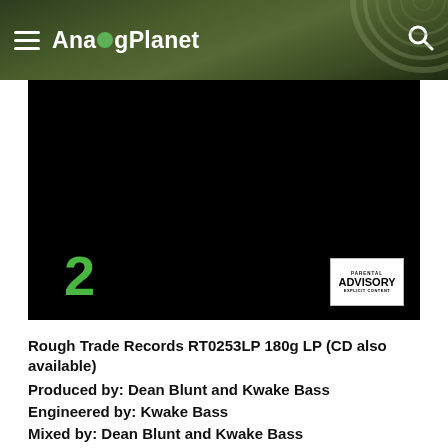AnalogPlanet
[Figure (other): Black album cover image showing the number 2 in green on the lower left and a Parental Advisory Explicit Content label on the lower right]
Rough Trade Records RT0253LP 180g LP (CD also available)
Produced by: Dean Blunt and Kwake Bass
Engineered by: Kwake Bass
Mixed by: Dean Blunt and Kwake Bass
Mastered by: "KR" at Optimal Media (vinyl)